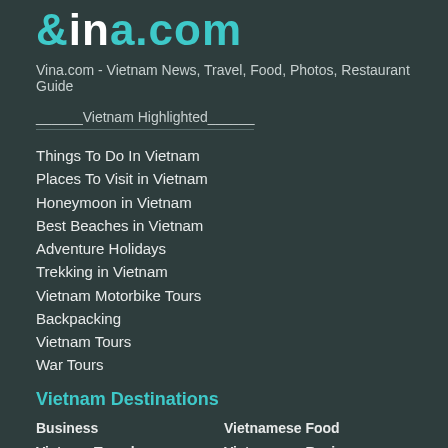vina.com
Vina.com - Vietnam News, Travel, Food, Photos, Restaurant Guide
______Vietnam Highlighted______
Things To Do In Vietnam
Places To Visit in Vietnam
Honeymoon in Vietnam
Best Beaches in Vietnam
Adventure Holidays
Trekking in Vietnam
Vietnam Motorbike Tours
Backpacking
Vietnam Tours
War Tours
Vietnam Destinations
Business
Vietnamese Food
Vietnam Travel
Vietnamese Recipes